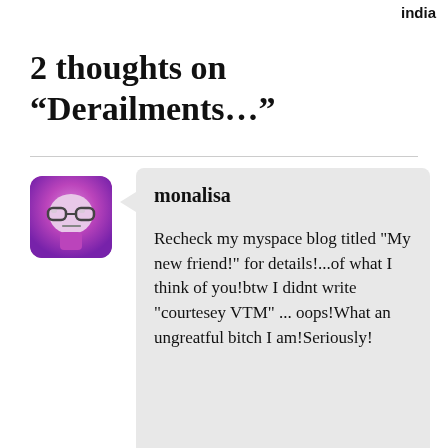india
2 thoughts on “Derailments…”
monalisa
Recheck my myspace blog titled "My new friend!" for details!...of what I think of you!btw I didnt write "courtesey VTM" ... oops!What an ungreatful bitch I am!Seriously!